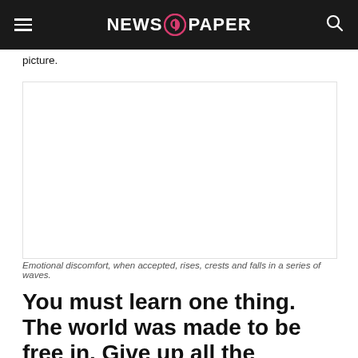NEWS 9 PAPER
picture.
[Figure (photo): Blank/empty image placeholder area]
Emotional discomfort, when accepted, rises, crests and falls in a series of waves.
You must learn one thing. The world was made to be free in. Give up all the